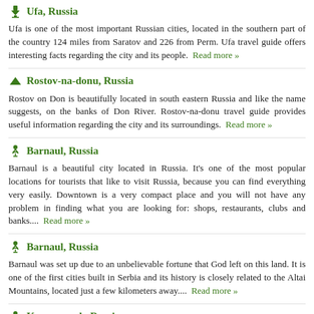Ufa, Russia
Ufa is one of the most important Russian cities, located in the southern part of the country 124 miles from Saratov and 226 from Perm. Ufa travel guide offers interesting facts regarding the city and its people.  Read more »
Rostov-na-donu, Russia
Rostov on Don is beautifully located in south eastern Russia and like the name suggests, on the banks of Don River. Rostov-na-donu travel guide provides useful information regarding the city and its surroundings.  Read more »
Barnaul, Russia
Barnaul is a beautiful city located in Russia. It's one of the most popular locations for tourists that like to visit Russia, because you can find everything very easily. Downtown is a very compact place and you will not have any problem in finding what you are looking for: shops, restaurants, clubs and banks....  Read more »
Barnaul, Russia
Barnaul was set up due to an unbelievable fortune that God left on this land. It is one of the first cities built in Serbia and its history is closely related to the Altai Mountains, located just a few kilometers away....  Read more »
Krasnoyarsk, Russia
If you are sick and tired of revisiting the same old places and going to the same exotic cities, then it is obvious that you need to reschedule your plans. I can bet you have never thought about Eastern Europe and even more, you have never taken into consideration Russia as your final destination. However, once you give it